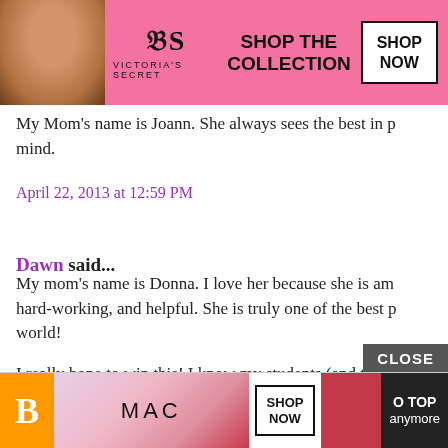[Figure (screenshot): Victoria's Secret advertisement banner with model, VS logo, 'SHOP THE COLLECTION' text and 'SHOP NOW' button]
My Mom's name is Joann. She always sees the best in p… mind.
April 22, 2013 at 12:59 PM
Dawn said...
My mom's name is Donna. I love her because she is am… hard-working, and helpful. She is truly one of the best p… world!
I really hope to win this! I know my students (and their…
April 22, 2013 at 1:01 PM
[Figure (screenshot): MAC cosmetics advertisement banner with lipsticks, MAC logo, 'SHOP NOW' button, and 'GO TOP anymore' text. Blogger icon visible on left.]